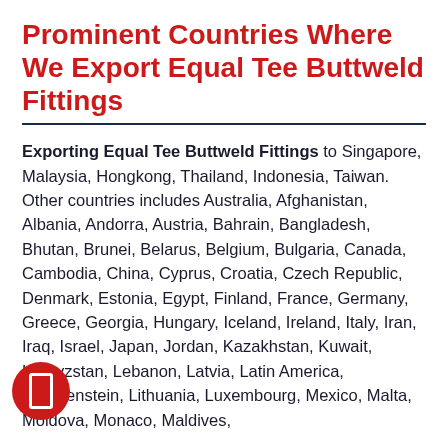Prominent Countries Where We Export Equal Tee Buttweld Fittings
Exporting Equal Tee Buttweld Fittings to Singapore, Malaysia, Hongkong, Thailand, Indonesia, Taiwan. Other countries includes Australia, Afghanistan, Albania, Andorra, Austria, Bahrain, Bangladesh, Bhutan, Brunei, Belarus, Belgium, Bulgaria, Canada, Cambodia, China, Cyprus, Croatia, Czech Republic, Denmark, Estonia, Egypt, Finland, France, Germany, Greece, Georgia, Hungary, Iceland, Ireland, Italy, Iran, Iraq, Israel, Japan, Jordan, Kazakhstan, Kuwait, Kyrgyzstan, Lebanon, Latvia, Latin America, Liechtenstein, Lithuania, Luxembourg, Mexico, Malta, Moldova, Monaco, Maldives,